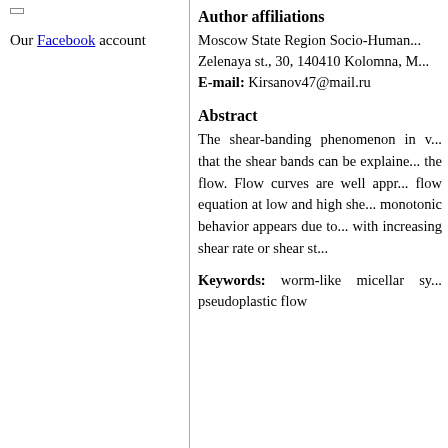Our Facebook account
Author affiliations
Moscow State Region Socio-Human... Zelenaya st., 30, 140410 Kolomna, M... E-mail: Kirsanov47@mail.ru
Abstract
The shear-banding phenomenon in w... that the shear bands can be explaine... the flow. Flow curves are well appr... flow equation at low and high she... monotonic behavior appears due to... with increasing shear rate or shear st...
Keywords: worm-like micellar sy... pseudoplastic flow